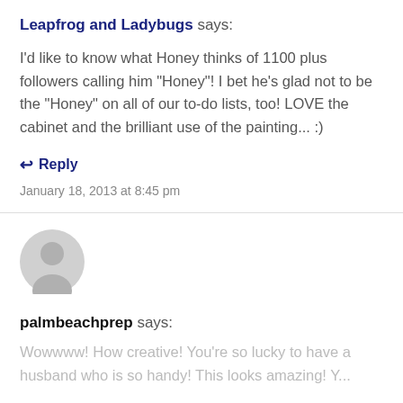Leapfrog and Ladybugs says:
I'd like to know what Honey thinks of 1100 plus followers calling him "Honey"! I bet he's glad not to be the "Honey" on all of our to-do lists, too! LOVE the cabinet and the brilliant use of the painting... :)
↩ Reply
January 18, 2013 at 8:45 pm
[Figure (illustration): Default user avatar - grey silhouette of a person on a light grey circular background]
palmbeachprep says:
Wowwww! How creative! You're so lucky to have a husband who is so handy! This looks amazing! Y...